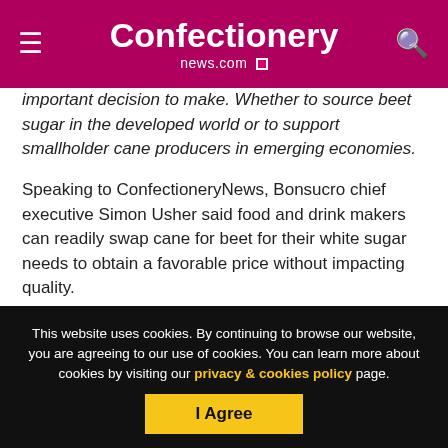Confectionery news.com
important decision to make. Whether to source beet sugar in the developed world or to support smallholder cane producers in emerging economies.
Speaking to ConfectioneryNews, Bonsucro chief executive Simon Usher said food and drink makers can readily swap cane for beet for their white sugar needs to obtain a favorable price without impacting quality.
This shift is likely to become easier in Europe with the abolition
This website uses cookies. By continuing to browse our website, you are agreeing to our use of cookies. You can learn more about cookies by visiting our privacy & cookies policy page.